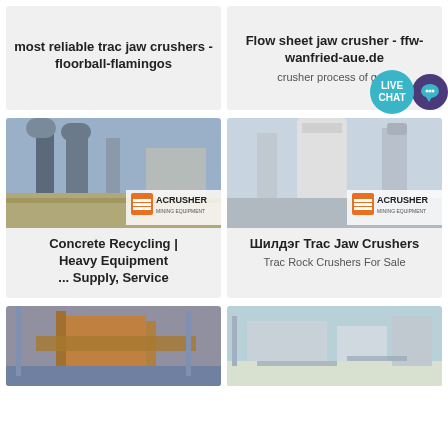most reliable trac jaw crushers - floorball-flamingos
Flow sheet jaw crusher - ffw-wanfried-aue.de
crusher process of gold
[Figure (photo): Industrial heavy equipment / crusher machinery with tall silos and metal structures, ACRUSHER Mining Equipment logo overlay]
[Figure (photo): Industrial vertical mill / crusher machinery with white cylindrical structures, ACRUSHER Mining Equipment logo overlay]
Concrete Recycling | Heavy Equipment ... Supply, Service
Шилдэг Trac Jaw Crushers
Trac Rock Crushers For Sale
[Figure (photo): Outdoor jaw crusher / heavy equipment plant with orange metal framework]
[Figure (photo): Outdoor industrial crusher facility with buildings and conveyor belts in a quarry setting]